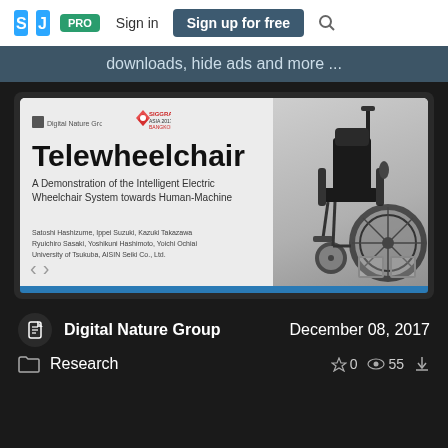SD PRO Sign in Sign up for free
downloads, hide ads and more ...
[Figure (screenshot): Slide preview for 'Telewheelchair: A Demonstration of the Intelligent Electric Wheelchair System towards Human-Machine' by Satoshi Hashizume, Ippei Suzuki, Kazuki Takazawa, Ryuichiro Sasaki, Yoshikuni Hashimoto, Yoichi Ochiai. University of Tsukuba, AISIN Seiki Co., Ltd.]
Digital Nature Group
December 08, 2017
Research
0  55